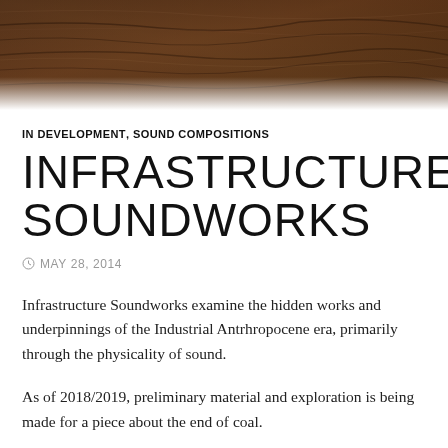[Figure (photo): Dark brown soil/earth texture photograph used as a hero banner image at the top of the page]
IN DEVELOPMENT, SOUND COMPOSITIONS
INFRASTRUCTURE SOUNDWORKS
MAY 28, 2014
Infrastructure Soundworks examine the hidden works and underpinnings of the Industrial Antrhropocene era, primarily through the physicality of sound.
As of 2018/2019, preliminary material and exploration is being made for a piece about the end of coal.